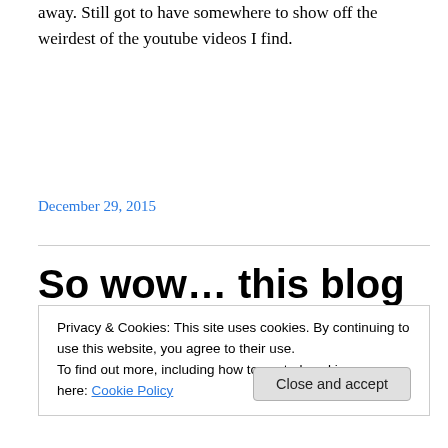away. Still got to have somewhere to show off the weirdest of the youtube videos I find.
December 29, 2015
So wow… this blog is 5 years
Privacy & Cookies: This site uses cookies. By continuing to use this website, you agree to their use.
To find out more, including how to control cookies, see here: Cookie Policy
Close and accept